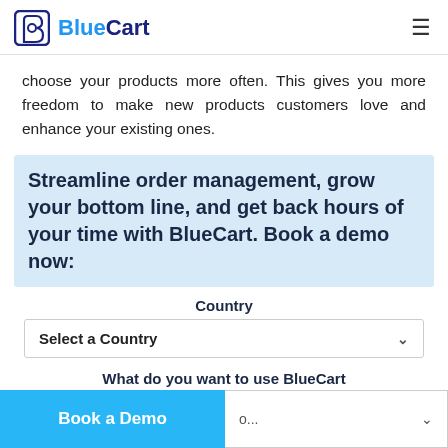BlueCart
choose your products more often. This gives you more freedom to make new products customers love and enhance your existing ones.
Streamline order management, grow your bottom line, and get back hours of your time with BlueCart. Book a demo now:
Country
Select a Country
What do you want to use BlueCart for?
Book a Demo